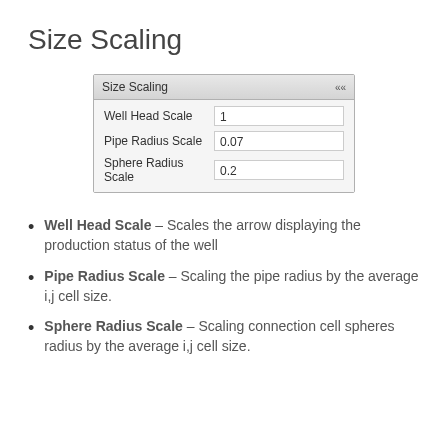Size Scaling
[Figure (screenshot): UI panel titled 'Size Scaling' with three input fields: Well Head Scale = 1, Pipe Radius Scale = 0.07, Sphere Radius Scale = 0.2]
Well Head Scale – Scales the arrow displaying the production status of the well
Pipe Radius Scale – Scaling the pipe radius by the average i,j cell size.
Sphere Radius Scale – Scaling connection cell spheres radius by the average i,j cell size.